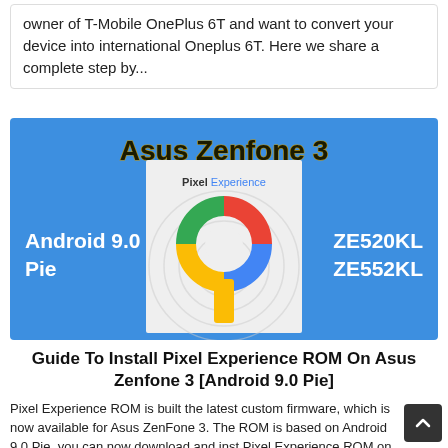owner of T-Mobile OnePlus 6T and want to convert your device into international Oneplus 6T. Here we share a complete step by...
[Figure (illustration): Promotional banner for Asus Zenfone 3 Pixel Experience ROM. Blue background with central white card showing Pixel Experience logo and Google 'P' icon. Text shows Android 9.0 Pie on left, ZE520KL and ZE552KL on right, Asus Zenfone 3 title at top in dark with gold outline.]
Guide To Install Pixel Experience ROM On Asus Zenfone 3 [Android 9.0 Pie]
Pixel Experience ROM is built the latest custom firmware, which is now available for Asus ZenFone 3. The ROM is based on Android 9.0 Pie, you can now download and inst Pixel Experience ROM on Asus Zenfone 3. The Pixel